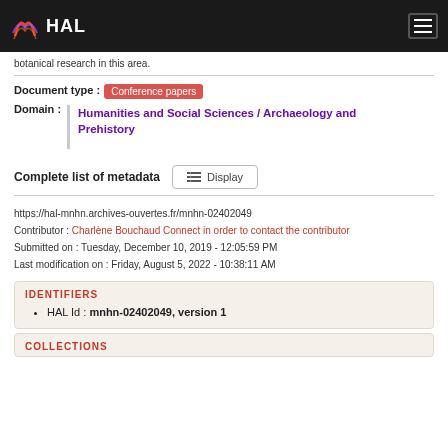HAL
botanical research in this area.
Document type : Conference papers
Domain : Humanities and Social Sciences / Archaeology and Prehistory
Complete list of metadata  Display
https://hal-mnhn.archives-ouvertes.fr/mnhn-02402049
Contributor : Charlène Bouchaud Connect in order to contact the contributor
Submitted on : Tuesday, December 10, 2019 - 12:05:59 PM
Last modification on : Friday, August 5, 2022 - 10:38:11 AM
IDENTIFIERS
HAL Id : mnhn-02402049, version 1
COLLECTIONS